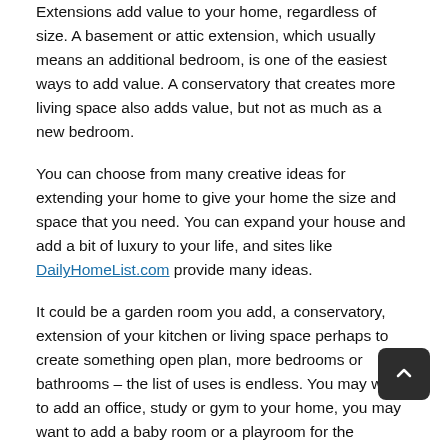Extensions add value to your home, regardless of size. A basement or attic extension, which usually means an additional bedroom, is one of the easiest ways to add value. A conservatory that creates more living space also adds value, but not as much as a new bedroom.
You can choose from many creative ideas for extending your home to give your home the size and space that you need. You can expand your house and add a bit of luxury to your life, and sites like DailyHomeList.com provide many ideas.
It could be a garden room you add, a conservatory, extension of your kitchen or living space perhaps to create something open plan, more bedrooms or bathrooms – the list of uses is endless. You may want to add an office, study or gym to your home, you may want to add a baby room or a playroom for the children.
By adding an extension, you can create a self-contained granny